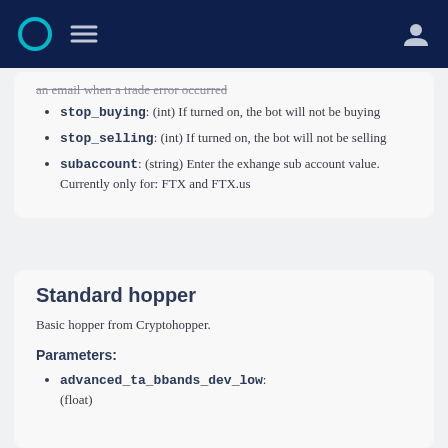Navigation bar with logo, menu, and user icon
stop_buying: (int) If turned on, the bot will not be buying
stop_selling: (int) If turned on, the bot will not be selling
subaccount: (string) Enter the exhange sub account value. Currently only for: FTX and FTX.us
Standard hopper
Basic hopper from Cryptohopper.
Parameters:
advanced_ta_bbands_dev_low: (float)